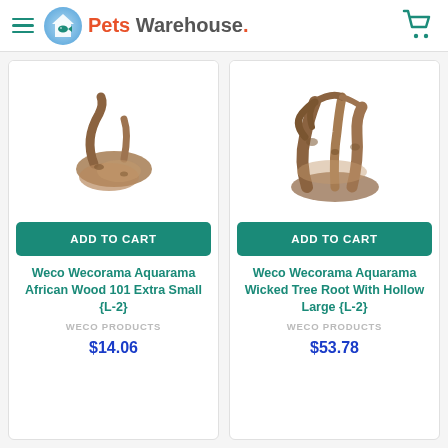Pets Warehouse
[Figure (photo): Weco Wecorama Aquarama African Wood 101 Extra Small driftwood piece on white background]
ADD TO CART
Weco Wecorama Aquarama African Wood 101 Extra Small {L-2}
WECO PRODUCTS
$14.06
[Figure (photo): Weco Wecorama Aquarama Wicked Tree Root With Hollow Large decorative wood piece on white background]
ADD TO CART
Weco Wecorama Aquarama Wicked Tree Root With Hollow Large {L-2}
WECO PRODUCTS
$53.78